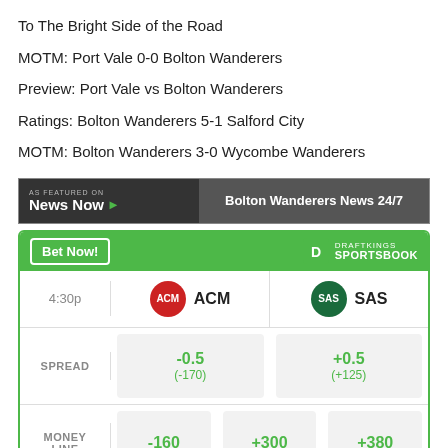To The Bright Side of the Road
MOTM: Port Vale 0-0 Bolton Wanderers
Preview: Port Vale vs Bolton Wanderers
Ratings: Bolton Wanderers 5-1 Salford City
MOTM: Bolton Wanderers 3-0 Wycombe Wanderers
[Figure (screenshot): News Now banner - As Featured On News Now, Bolton Wanderers News 24/7]
[Figure (screenshot): DraftKings Sportsbook betting widget showing ACM vs SAS at 4:30p. Spread: ACM -0.5 (-170), SAS +0.5 (+125). Money Line: -160, +300, +380.]